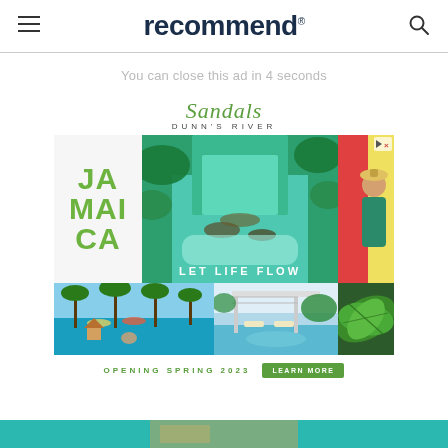recommend
You can close this ad in 4 seconds
[Figure (illustration): Sandals Dunn's River Jamaica advertisement. Sandals script logo at top, large grid of vacation photos including waterfall, beach, pool, and tropical greenery. Text overlay reads 'JAMAICA' and 'LET LIFE FLOW'. Bottom text: 'OPENING SPRING 2023' with a 'LEARN MORE' button.]